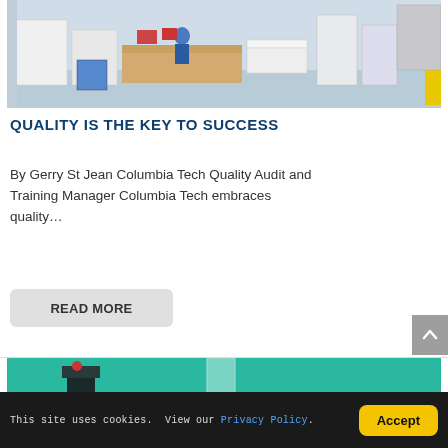[Figure (photo): Industrial manufacturing floor with workers, workbenches, equipment and machinery in a factory setting.]
QUALITY IS THE KEY TO SUCCESS
By Gerry St Jean Columbia Tech Quality Audit and Training Manager Columbia Tech embraces quality…
READ MORE
[Figure (photo): Teal/green colored image, appears to be a laboratory or clean room environment.]
This site uses cookies.  View our Privacy Policy.
Accept